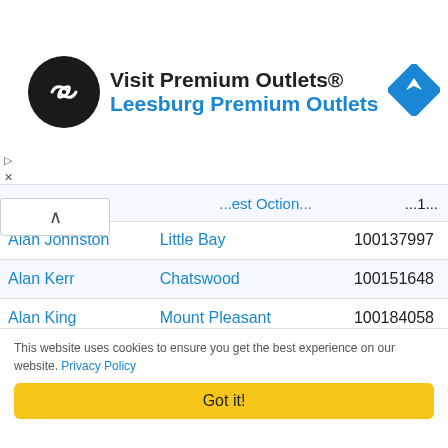[Figure (logo): Advertisement banner for Visit Premium Outlets - Leesburg Premium Outlets with circular black logo with white infinity-like symbol and blue navigation diamond icon]
| Name | Location | ID |
| --- | --- | --- |
| ...ancy | ...est Ootion... | ...1... |
| Alan Johnston | Little Bay | 100137997 |
| Alan Kerr | Chatswood | 100151648 |
| Alan King | Mount Pleasant | 100184058 |
| Alan Lavis | Brisbane City | 100070326 |
| Alan Lopez | Mordialloc | 100002211 |
| Alan Mai | Forest Hill | 100204813 |
This website uses cookies to ensure you get the best experience on our website. Privacy Policy
Got it!